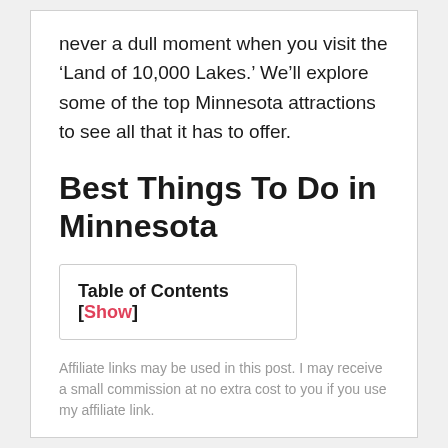never a dull moment when you visit the ‘Land of 10,000 Lakes.’ We’ll explore some of the top Minnesota attractions to see all that it has to offer.
Best Things To Do in Minnesota
Table of Contents [Show]
Affiliate links may be used in this post. I may receive a small commission at no extra cost to you if you use my affiliate link.